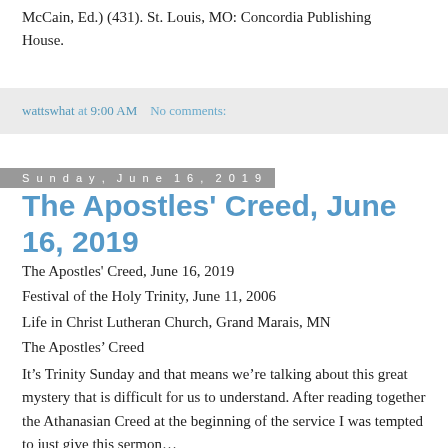McCain, Ed.) (431). St. Louis, MO: Concordia Publishing House.
wattswhat at 9:00 AM    No comments:
Sunday, June 16, 2019
The Apostles' Creed, June 16, 2019
The Apostles' Creed, June 16, 2019
Festival of the Holy Trinity, June 11, 2006
Life in Christ Lutheran Church, Grand Marais, MN
The Apostles’ Creed
It’s Trinity Sunday and that means we’re talking about this great mystery that is difficult for us to understand. After reading together the Athanasian Creed at the beginning of the service I was tempted to just give this sermon…
The Holy Trinity: Three in one, one in three. Got it? Amen.